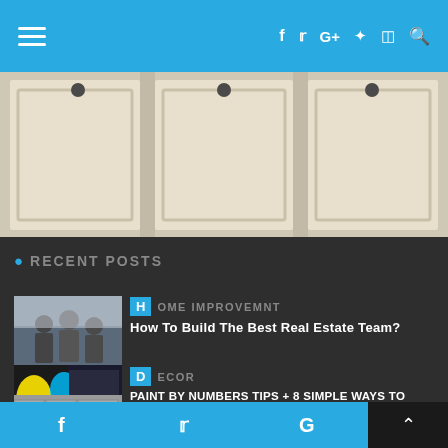Navigation header with hamburger menu and social icons (f, Twitter, G+, Pinterest, Instagram, Search)
[Figure (photo): White kitchen cabinet doors with round black knobs, three panels visible]
RECENT POSTS
[Figure (photo): People standing in a meeting or office setting]
H HOME IMPROVEMNT
How To Build The Best Real Estate Team?
[Figure (photo): Colorful paint art / paint by numbers image]
D DECOR
PAINT BY NUMBERS TIPS + 8 SIMPLE WAYS TO ENJOY YOUR CANVAS MORE!
[Figure (photo): Brick wall or gutter cleaning image]
C CLEANING . H HOME
What To Look For When Hiring A Gutter Cleanin…
f  Twitter  G